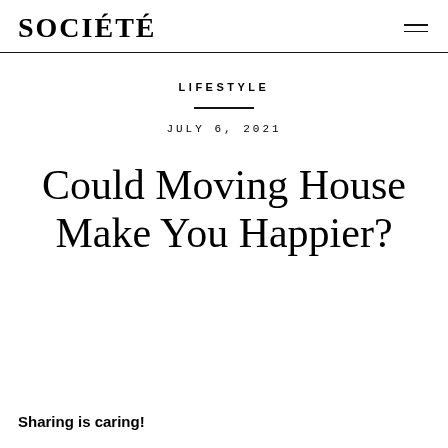SOCIÉTÉ
LIFESTYLE
JULY 6, 2021
Could Moving House Make You Happier?
Sharing is caring!